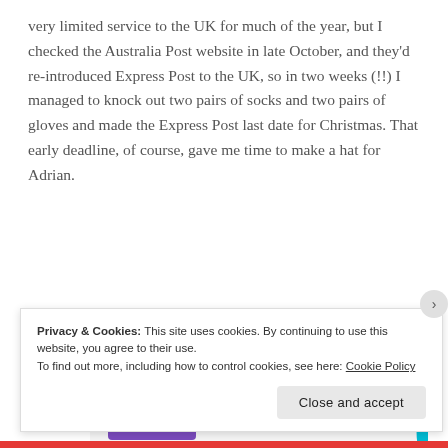very limited service to the UK for much of the year, but I checked the Australia Post website in late October, and they'd re-introduced Express Post to the UK, so in two weeks (!!) I managed to knock out two pairs of socks and two pairs of gloves and made the Express Post last date for Christmas. That early deadline, of course, gave me time to make a hat for Adrian.
[Figure (other): Advertisement banner for 'How to start selling subscriptions online' with a purple button and a blue decorative shape on the right.]
Privacy & Cookies: This site uses cookies. By continuing to use this website, you agree to their use.
To find out more, including how to control cookies, see here: Cookie Policy
Close and accept